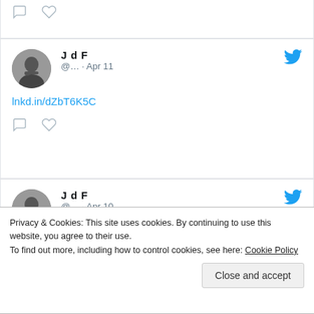[Figure (screenshot): Partial tweet card showing comment and heart icons at top]
[Figure (screenshot): Tweet card from JdF @... · Apr 11 with link lnkd.in/dZbT6K5C and comment/heart icons]
[Figure (screenshot): Tweet card from JdF @... · Apr 10 with link lnkd.in/dHEau_qN and comment/heart icons]
Privacy & Cookies: This site uses cookies. By continuing to use this website, you agree to their use.
To find out more, including how to control cookies, see here: Cookie Policy
Close and accept